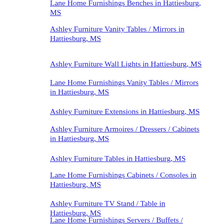Lane Home Furnishings Benches in Hattiesburg, MS
Ashley Furniture Vanity Tables / Mirrors in Hattiesburg, MS
Ashley Furniture Wall Lights in Hattiesburg, MS
Lane Home Furnishings Vanity Tables / Mirrors in Hattiesburg, MS
Ashley Furniture Extensions in Hattiesburg, MS
Ashley Furniture Armoires / Dressers / Cabinets in Hattiesburg, MS
Ashley Furniture Tables in Hattiesburg, MS
Lane Home Furnishings Cabinets / Consoles in Hattiesburg, MS
Ashley Furniture TV Stand / Table in Hattiesburg, MS
Lane Home Furnishings Servers / Buffets / Sideboards in Hattiesburg, MS